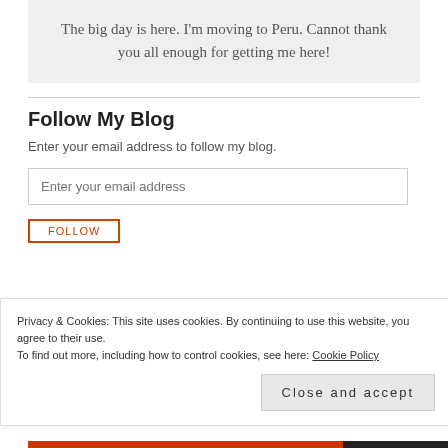The big day is here. I'm moving to Peru. Cannot thank you all enough for getting me here!
Follow My Blog
Enter your email address to follow my blog.
[Email input field: Enter your email address]
Privacy & Cookies: This site uses cookies. By continuing to use this website, you agree to their use. To find out more, including how to control cookies, see here: Cookie Policy
Close and accept